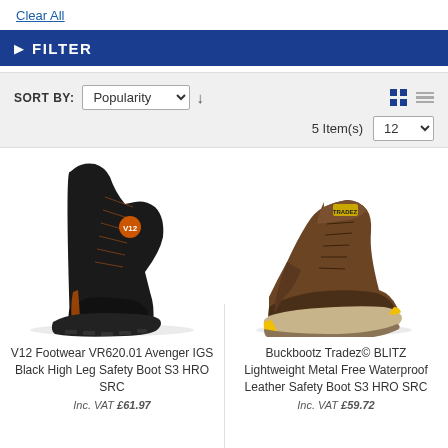Clear All
FILTER
SORT BY: Popularity  5 Item(s)  12
[Figure (photo): V12 Footwear black high leg safety boot with orange accents and V12 logo]
V12 Footwear VR620.01 Avenger IGS Black High Leg Safety Boot S3 HRO SRC
Inc. VAT £61.97
[Figure (photo): Buckbootz Tradez brown lightweight waterproof leather safety boot with yellow accents]
Buckbootz Tradez© BLITZ Lightweight Metal Free Waterproof Leather Safety Boot S3 HRO SRC
Inc. VAT £59.72